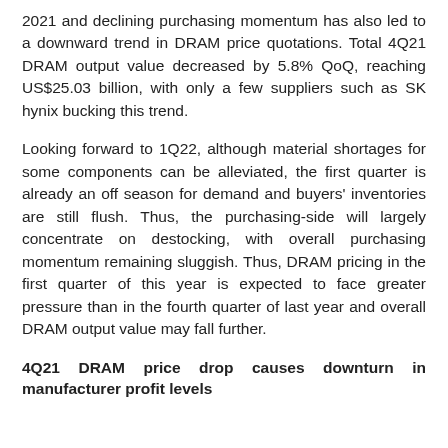2021 and declining purchasing momentum has also led to a downward trend in DRAM price quotations. Total 4Q21 DRAM output value decreased by 5.8% QoQ, reaching US$25.03 billion, with only a few suppliers such as SK hynix bucking this trend.
Looking forward to 1Q22, although material shortages for some components can be alleviated, the first quarter is already an off season for demand and buyers' inventories are still flush. Thus, the purchasing-side will largely concentrate on destocking, with overall purchasing momentum remaining sluggish. Thus, DRAM pricing in the first quarter of this year is expected to face greater pressure than in the fourth quarter of last year and overall DRAM output value may fall further.
4Q21 DRAM price drop causes downturn in manufacturer profit levels